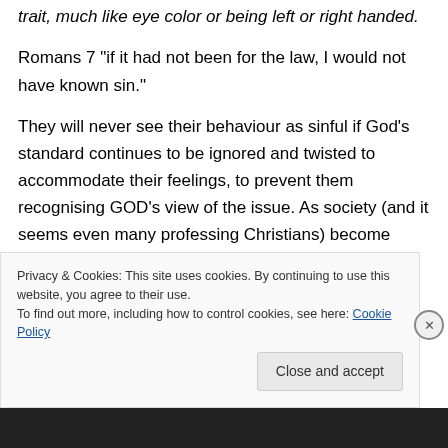trait, much like eye color or being left or right handed.
Romans 7 “if it had not been for the law, I would not have known sin.”
They will never see their behaviour as sinful if God’s standard continues to be ignored and twisted to accommodate their feelings, to prevent them recognising GOD’s view of the issue. As society (and it seems even many professing Christians) become more accepting
Privacy & Cookies: This site uses cookies. By continuing to use this website, you agree to their use.
To find out more, including how to control cookies, see here: Cookie Policy